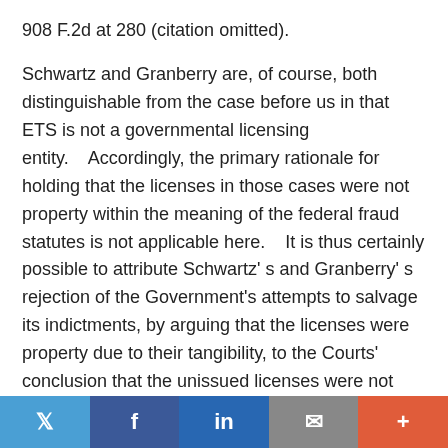908 F.2d at 280 (citation omitted).
Schwartz and Granberry are, of course, both distinguishable from the case before us in that ETS is not a governmental licensing entity.    Accordingly, the primary rationale for holding that the licenses in those cases were not property within the meaning of the federal fraud statutes is not applicable here.    It is thus certainly possible to attribute Schwartz' s and Granberry' s rejection of the Government's attempts to salvage its indictments, by arguing that the licenses were property due to their tangibility, to the Courts' conclusion that the unissued licenses were not property in any case.    Nevertheless, it is also possible to read Schwartz and Granberry as recognizing a de minimis exception to the mail fraud statute regardless of whether the victim is a governmental licensing entity.    Even if we read Schwartz
Twitter | Facebook | LinkedIn | Email | More